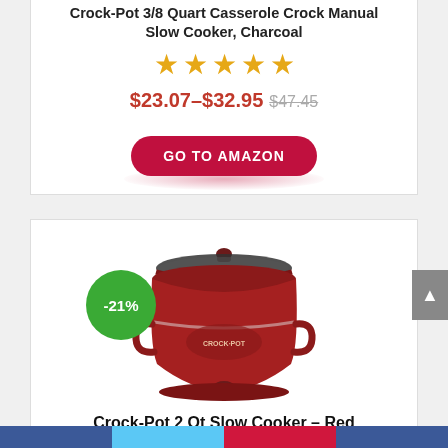Crock-Pot 3/8 Quart Casserole Crock Manual Slow Cooker, Charcoal
★★★★★
$23.07–$32.95 $47.45
GO TO AMAZON
[Figure (photo): Red Crock-Pot 2 Qt Slow Cooker with glass lid, shown with a -21% discount badge]
Crock-Pot 2 Qt Slow Cooker – Red